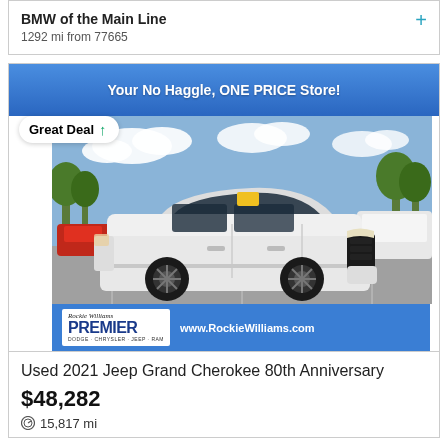BMW of the Main Line
1292 mi from 77665
[Figure (photo): White 2021 Jeep Grand Cherokee 80th Anniversary SUV parked in a dealership lot. Dealer banner reads 'Your No Haggle, ONE PRICE Store!' at top and shows Premier Dodge Chrysler Jeep Ram logo with www.RockieWilliams.com at bottom. A 'Great Deal' badge with green arrow is overlaid on upper left.]
Used 2021 Jeep Grand Cherokee 80th Anniversary
$48,282
15,817 mi